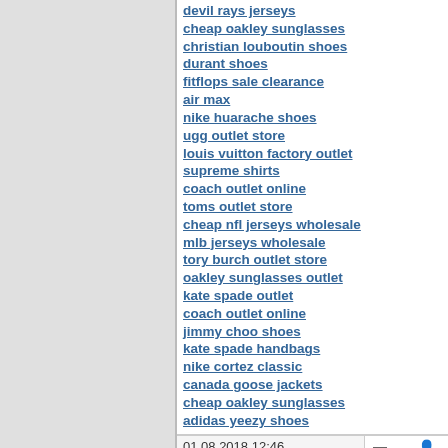devil rays jerseys
cheap oakley sunglasses
christian louboutin shoes
durant shoes
fitflops sale clearance
air max
nike huarache shoes
ugg outlet store
louis vuitton factory outlet
supreme shirts
coach outlet online
toms outlet store
cheap nfl jerseys wholesale
mlb jerseys wholesale
tory burch outlet store
oakley sunglasses outlet
kate spade outlet
coach outlet online
jimmy choo shoes
kate spade handbags
nike cortez classic
canada goose jackets
cheap oakley sunglasses
adidas yeezy shoes
nike zoom shoes
pandora charms
canada goose
canada goose outlet
clb20180801
01.08.2018 12:46
[Figure (other): Profile icon and profile link]
henxi0548K
Member

Join Date: 01.08.2018
Comments: 37
http://www.fitflop.com.co
birkenstock outlet
adidas yeezy
canada goose jackets